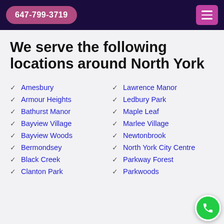647-799-3719
We serve the following locations around North York
Amesbury
Lawrence Manor
Armour Heights
Ledbury Park
Bathurst Manor
Maple Leaf
Bayview Village
Marlee Village
Bayview Woods
Newtonbrook
Bermondsey
North York City Centre
Black Creek
Parkway Forest
Clanton Park
Parkwoods